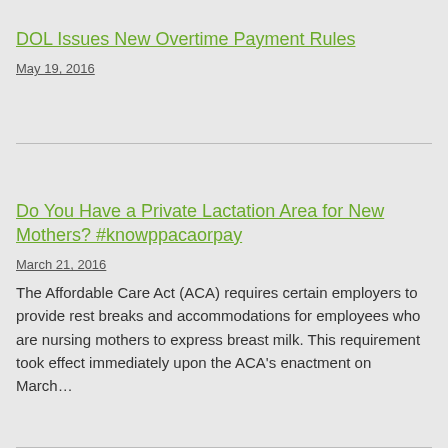DOL Issues New Overtime Payment Rules
May 19, 2016
Do You Have a Private Lactation Area for New Mothers? #knowppacaorpay
March 21, 2016
The Affordable Care Act (ACA) requires certain employers to provide rest breaks and accommodations for employees who are nursing mothers to express breast milk. This requirement took effect immediately upon the ACA's enactment on March…